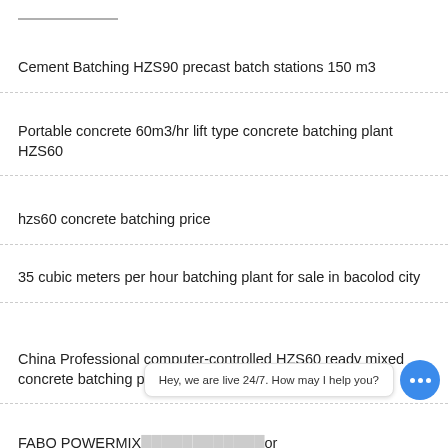Cement Batching HZS90 precast batch stations 150 m3
Portable concrete 60m3/hr lift type concrete batching plant HZS60
hzs60 concrete batching price
35 cubic meters per hour batching plant for sale in bacolod city
China Professional computer-controlled HZS60 ready mixed concrete batching plant
FABO POWERMIX … or